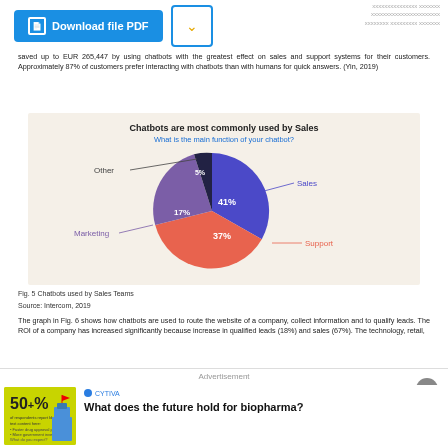saved up to EUR 265,447 by using chatbots with the greatest effect on sales and support systems for their customers. Approximately 87% of customers prefer interacting with chatbots than with humans for quick answers. (Yin, 2019)
[Figure (pie-chart): Chatbots are most commonly used by Sales]
Fig. 5 Chatbots used by Sales Teams
Source: Intercom, 2019
The graph in Fig. 6 shows how chatbots are used to route the website of a company, collect information and to qualify leads. The ROI of a company has increased significantly because increase in qualified leads (18%) and sales (67%). The technology, retail,
Advertisement
[Figure (infographic): Advertisement banner for biopharma article. Yellow background graphic with '50+%' statistic and list items, next to text 'What does the future hold for biopharma?' with Cytiva logo.]